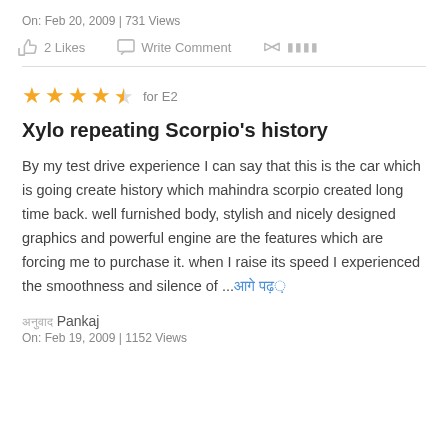On: Feb 20, 2009 | 731 Views
2 Likes   Write Comment   शेयर
★★★★½ for E2
Xylo repeating Scorpio's history
By my test drive experience I can say that this is the car which is going create history which mahindra scorpio created long time back. well furnished body, stylish and nicely designed graphics and powerful engine are the features which are forcing me to purchase it. when I raise its speed I experienced the smoothness and silence of ...आगे पढ़ें
अनुवाद Pankaj
On: Feb 19, 2009 | 1152 Views